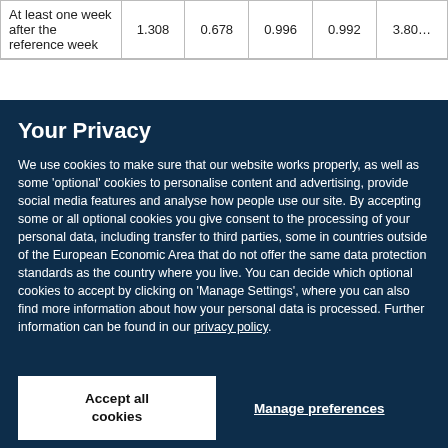|  | Col1 | Col2 | Col3 | Col4 | Col5 |
| --- | --- | --- | --- | --- | --- |
| At least one week after the reference week | 1.308 | 0.678 | 0.996 | 0.992 | 3.80… |
Your Privacy
We use cookies to make sure that our website works properly, as well as some 'optional' cookies to personalise content and advertising, provide social media features and analyse how people use our site. By accepting some or all optional cookies you give consent to the processing of your personal data, including transfer to third parties, some in countries outside of the European Economic Area that do not offer the same data protection standards as the country where you live. You can decide which optional cookies to accept by clicking on 'Manage Settings', where you can also find more information about how your personal data is processed. Further information can be found in our privacy policy.
Accept all cookies
Manage preferences